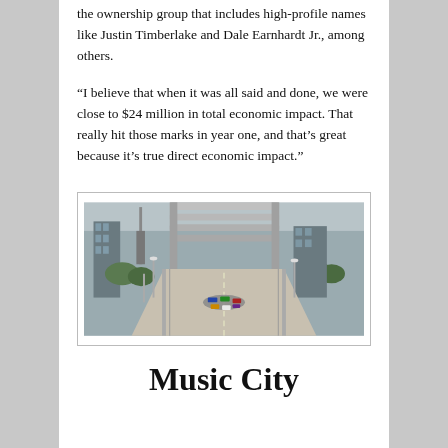the ownership group that includes high-profile names like Justin Timberlake and Dale Earnhardt Jr., among others.
“I believe that when it was all said and done, we were close to $24 million in total economic impact. That really hit those marks in year one, and that’s great because it’s true direct economic impact.”
[Figure (photo): Aerial view of race cars driving on a bridge or elevated road, with city buildings and a large bridge structure visible in the background.]
Music City